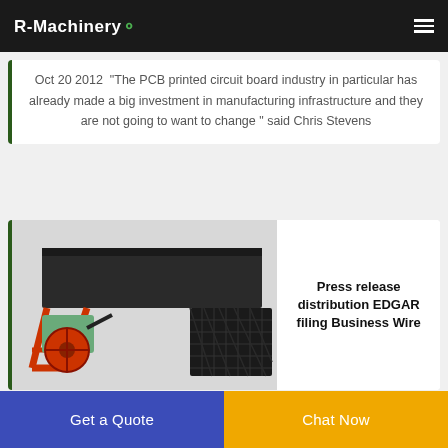R-Machinery
Oct 20 2012  "The PCB printed circuit board industry in particular has already made a big investment in manufacturing infrastructure and they are not going to want to change " said Chris Stevens
[Figure (photo): Industrial mining shaking table machine with red metal frame and green motor, alongside a carbon fiber texture thumbnail image]
Press release distribution EDGAR filing Business Wire
Get a Quote
Chat Now